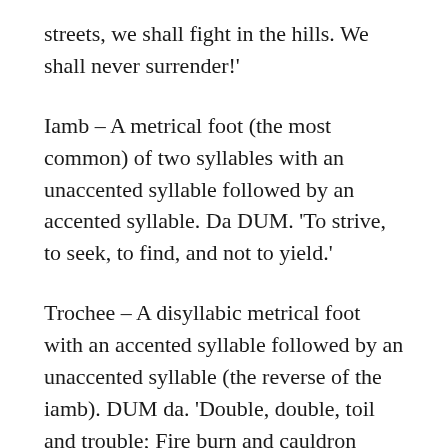streets, we shall fight in the hills. We shall never surrender!'
Iamb – A metrical foot (the most common) of two syllables with an unaccented syllable followed by an accented syllable. Da DUM. 'To strive, to seek, to find, and not to yield.'
Trochee – A disyllabic metrical foot with an accented syllable followed by an unaccented syllable (the reverse of the iamb). DUM da. 'Double, double, toil and trouble; Fire burn and cauldron bubble.' A trochaic line is often catalectic so as to enable a masculine ending,